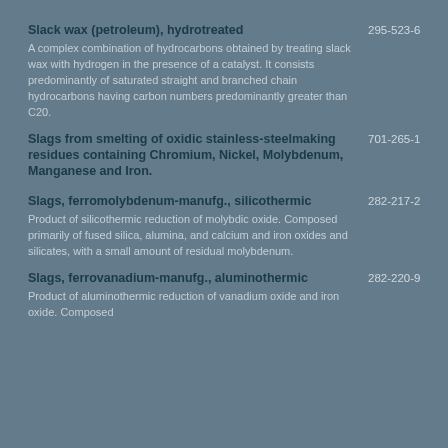Slack wax (petroleum), hydrotreated
A complex combination of hydrocarbons obtained by treating slack wax with hydrogen in the presence of a catalyst. It consists predominantly of saturated straight and branched chain hydrocarbons having carbon numbers predominantly greater than C20.
EC: 295-523-6  CAS: 92062-09-4
Slags from smelting of oxidic stainless-steelmaking residues containing Chromium, Nickel, Molybdenum, Manganese and Iron.
EC: 701-265-1  CAS: -
Slags, ferromolybdenum-manufg., silicothermic
Product of silicothermic reduction of molybdic oxide. Composed primarily of fused silica, alumina, and calcium and iron oxides and silicates, with a small amount of residual molybdenum.
EC: 282-217-2  CAS: 84144-95-6
Slags, ferrovanadium-manufg., aluminothermic
EC: 282-220-9  CAS: 84144-98-9
Product of aluminothermic reduction of vanadium oxide and iron oxide. Composed